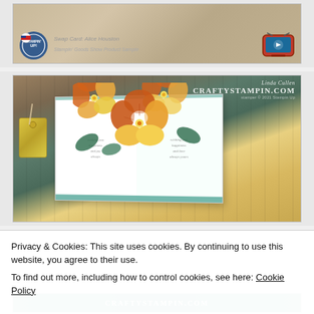[Figure (photo): Top crafting/stamping image showing swap card by Alice Houston, Stampin' Goods Show Product Sample, with Stampin' Up logo and video icon]
[Figure (photo): CraftyStampin.com branded photo by Linda Cullen showing a pop-up card with orange/yellow pansy flowers arranged inside an open card with teal/mint accents and a tag]
Privacy & Cookies: This site uses cookies. By continuing to use this website, you agree to their use.
To find out more, including how to control cookies, see here: Cookie Policy
Close and accept
[Figure (photo): Bottom partial strip showing CraftyStampin.com logo on teal background]